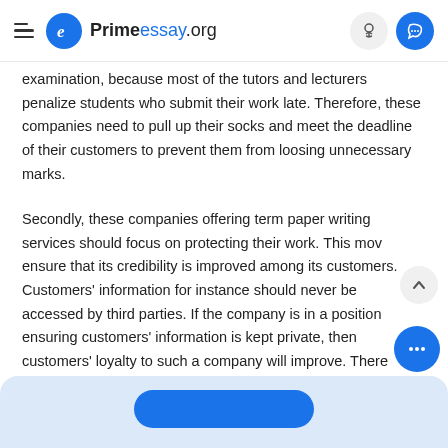Primeessay.org
examination, because most of the tutors and lecturers penalize students who submit their work late. Therefore, these companies need to pull up their socks and meet the deadline of their customers to prevent them from loosing unnecessary marks.
Secondly, these companies offering term paper writing services should focus on protecting their work. This move ensure that its credibility is improved among its customers. Customers' information for instance should never be accessed by third parties. If the company is in a position ensuring customers' information is kept private, then customers' loyalty to such a company will improve. There should be set rules governing the privacy of customers in the company.